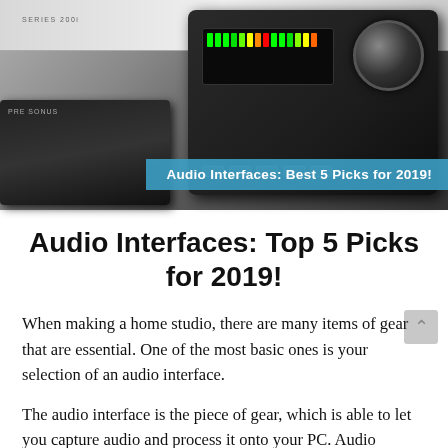[Figure (photo): Photo of multiple audio interface devices including a white SERIES 200i unit at top, a black compact audio interface in the center-left, and a large black audio interface with a big knob and LED display on the right. An overlay banner reads 'Audio Interfaces: Best 5 Picks for 2019!']
Audio Interfaces: Top 5 Picks for 2019!
When making a home studio, there are many items of gear that are essential. One of the most basic ones is your selection of an audio interface.
The audio interface is the piece of gear, which is able to let you capture audio and process it onto your PC. Audio interfaces are typically named as